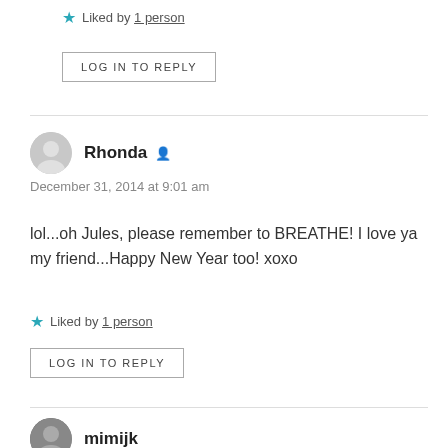Liked by 1 person
LOG IN TO REPLY
Rhonda
December 31, 2014 at 9:01 am
lol...oh Jules, please remember to BREATHE! I love ya my friend...Happy New Year too! xoxo
Liked by 1 person
LOG IN TO REPLY
mimijk
December 31, 2014 at 6:13 am
Oh wow, I'm sitting here looking at my monitor in...